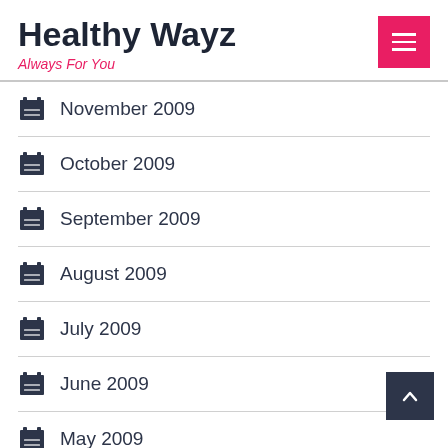Healthy Wayz
Always For You
November 2009
October 2009
September 2009
August 2009
July 2009
June 2009
May 2009
April 2009